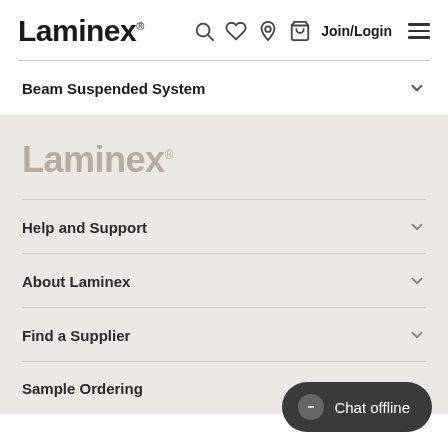Laminex
Beam Suspended System
[Figure (logo): Laminex logo in grey, footer area]
Help and Support
About Laminex
Find a Supplier
Sample Ordering
Chat offline